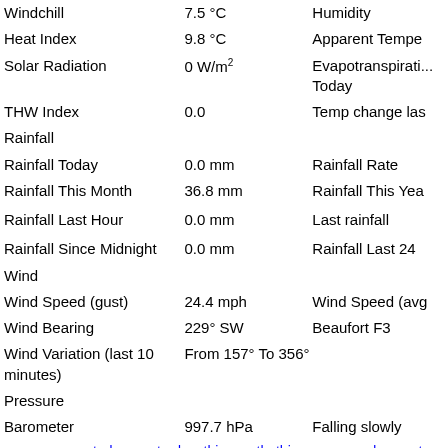| Windchill | 7.5 °C | Humidity |
| Heat Index | 9.8 °C | Apparent Tempe... |
| Solar Radiation | 0 W/m² | Evapotranspirati... Today |
| THW Index | 0.0 | Temp change las... |
| Rainfall |  |  |
| Rainfall Today | 0.0 mm | Rainfall Rate |
| Rainfall This Month | 36.8 mm | Rainfall This Yea... |
| Rainfall Last Hour | 0.0 mm | Last rainfall |
| Rainfall Since Midnight | 0.0 mm | Rainfall Last 24 |
| Wind |  |  |
| Wind Speed (gust) | 24.4 mph | Wind Speed (avg... |
| Wind Bearing | 229° SW | Beaufort F3 |
| Wind Variation (last 10 minutes) | From 157° To 356° |  |
| Pressure |  |  |
| Barometer | 997.7 hPa | Falling slowly |
:now::gauges::today::yesterday::this month::this year::records::mont...
Page updated 20/03/2017 09:15:00
powered by Cumulus v3.0.0 (3043)